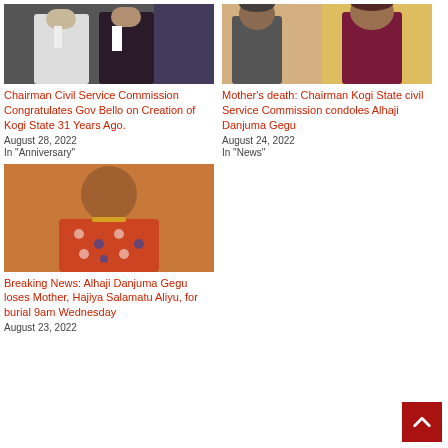[Figure (photo): Two men in formal attire posing for photo, dark background]
Chairman Civil Service Commission Congratulates Gov Bello on Creation of Kogi State 31 Years Ago.
August 28, 2022
In "Anniversary"
[Figure (photo): Two men outdoors, one in traditional Nigerian attire]
Mother's death: Chairman Kogi State civil Service Commission condoles Alhaji Danjuma Gegu
August 24, 2022
In "News"
[Figure (photo): Elderly woman in colorful patterned clothing]
Breaking News: Alhaji Danjuma Gegu loses Mother, Hajiya Salamatu Aliyu, for burial 9am Wednesday
August 23, 2022